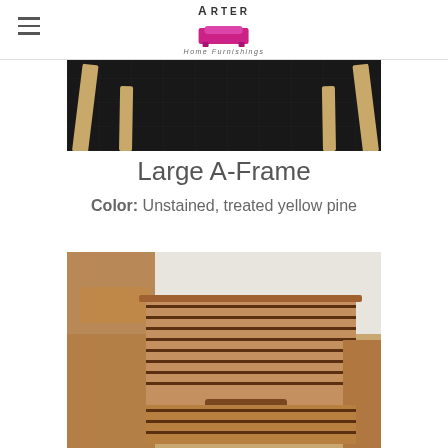Arter Home Furnishings
[Figure (photo): Top-down or close-up view of a large A-Frame structure with wooden legs against a black tarp/background]
Large A-Frame
Color: Unstained, treated yellow pine
[Figure (photo): Photo of a wooden porch swing bench with horizontal slats, armrests, and a center table/cup holder section, in stained wood finish]